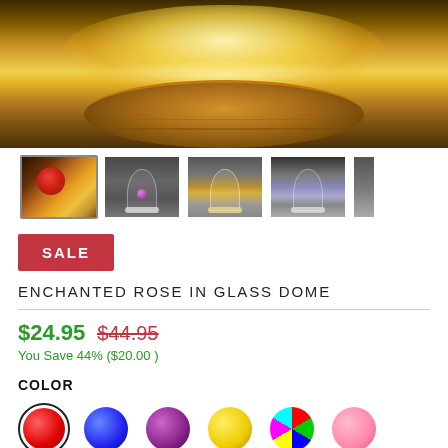[Figure (photo): Main product image showing an illuminated enchanted rose in a glass dome on a wooden base with warm golden glow lighting]
[Figure (photo): Row of product thumbnail images: 1) close-up warm lit rose, 2) purple rose in glass dome gray background, 3) golden rose in glass dome, 4) purple/blue rose in glass dome, 5) partial edge image]
SALE
ENCHANTED ROSE IN GLASS DOME
$24.95 $44.95
You Save 44% ($20.00 )
COLOR
[Figure (infographic): Color swatches: red (selected with ring), blue, purple, yellow, multicolor, pink]